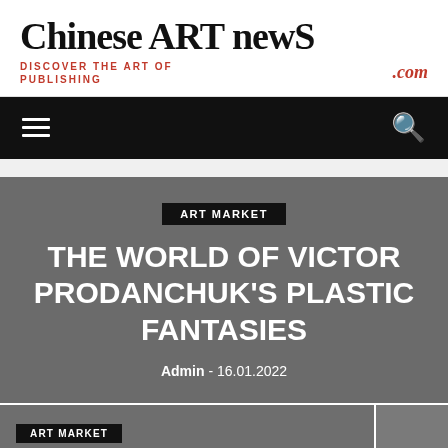Chinese ART newS
DISCOVER THE ART OF PUBLISHING .com
[Figure (other): Navigation bar with hamburger menu icon on left and search icon on right, dark background]
THE WORLD OF VICTOR PRODANCHUK'S PLASTIC FANTASIES
Admin - 16.01.2022
ART MARKET
Oksana Domnitskaya-Brik.